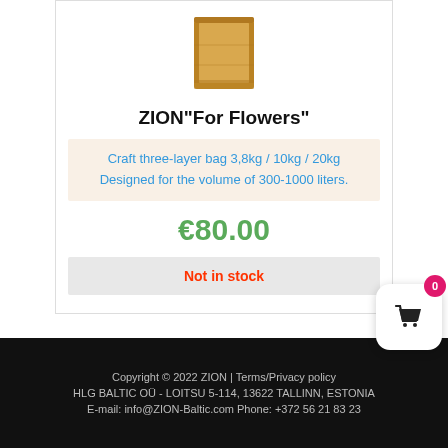[Figure (illustration): Brown paper kraft bag product image (top portion visible)]
ZION"For Flowers"
Craft three-layer bag 3,8kg / 10kg / 20kg
Designed for the volume of 300-1000 liters.
€80.00
Not in stock
[Figure (other): Shopping cart widget with badge showing 0]
Copyright © 2022 ZION | Terms/Privacy policy
HLG BALTIC OÜ - LOITSU 5-114, 13622 TALLINN, ESTONIA
E-mail: info@ZION-Baltic.com Phone: +372 56 21 83 23